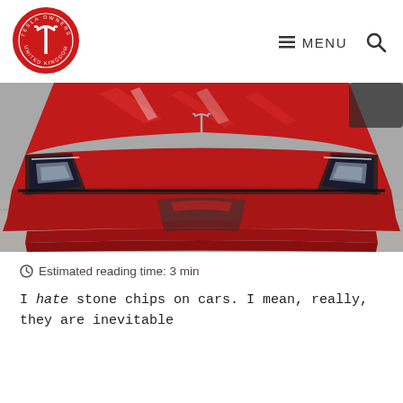[Figure (logo): Tesla Owners United Kingdom circular red logo with Tesla T emblem]
≡ MENU  🔍
[Figure (photo): Close-up front view of a red Tesla Model 3 showing the hood, Tesla logo emblem, and headlights, parked on a concrete surface]
⊙ Estimated reading time: 3 min
I hate stone chips on cars. I mean, really, they are inevitable